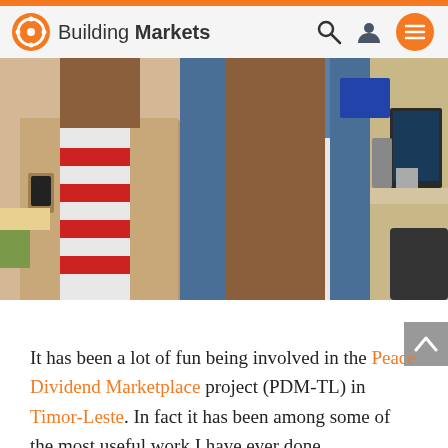Building Markets
[Figure (photo): Two people standing indoors in an office environment. The person on the left wears a tan/khaki vest over a red and white striped shirt with a mobile phone in the vest pocket. The person on the right wears a blue denim vest over a white shirt. Office equipment and furniture visible in background.]
It has been a lot of fun being involved in the Peace Dividend Marketplace project (PDM-TL) in Timor-Leste. In fact it has been among some of the most useful work I have ever done.